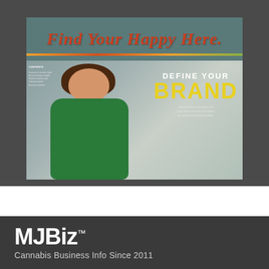[Figure (photo): Magazine cover spread showing a woman in a green dress standing in front of a sign reading 'Find Your Happy Here.' in cursive. The cover features bold text 'DEFINE YOUR BRAND' with yellow lettering, and subtitle text 'Cannabis firms recognize the importance of value proposition as market crowding intensifies.']
MJBiz™
Cannabis Business Info Since 2011